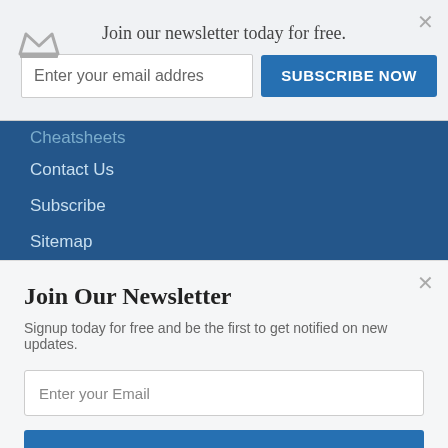Join our newsletter today for free.
Enter your email address
SUBSCRIBE NOW
Cheatsheets
Contact Us
Subscribe
Sitemap
RECENT POSTS
Recession Can Be Good for Retirees - The Silver Lining of Recession
Join Our Newsletter
Signup today for free and be the first to get notified on new updates.
Enter your Email
SUBSCRIBE NOW